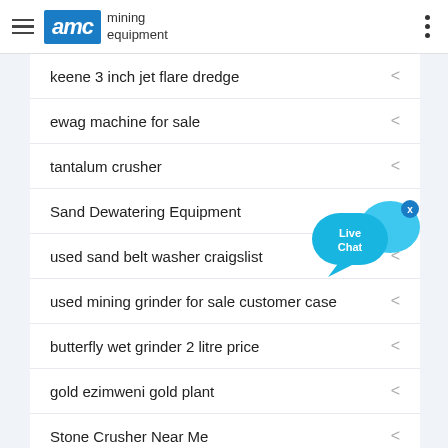AMC mining equipment
keene 3 inch jet flare dredge
ewag machine for sale
tantalum crusher
Sand Dewatering Equipment
used sand belt washer craigslist
used mining grinder for sale customer case
butterfly wet grinder 2 litre price
gold ezimweni gold plant
Stone Crusher Near Me
crusher equipment specification
Grinding Media Ball Mill
[Figure (illustration): Live Chat bubble widget in blue, overlapping the navigation list on the right side]